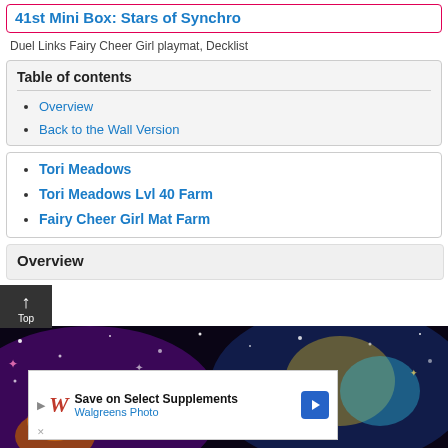41st Mini Box: Stars of Synchro
Duel Links Fairy Cheer Girl playmat, Decklist
Table of contents
Overview
Back to the Wall Version
Tori Meadows
Tori Meadows Lvl 40 Farm
Fairy Cheer Girl Mat Farm
Overview
[Figure (screenshot): Colorful anime-style game artwork with sparkles and glowing effects on dark background. Walgreens advertisement overlay at bottom.]